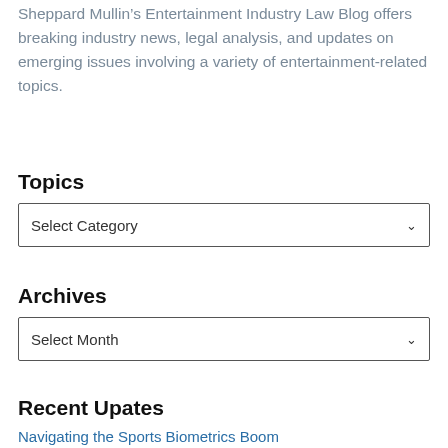Sheppard Mullin’s Entertainment Industry Law Blog offers breaking industry news, legal analysis, and updates on emerging issues involving a variety of entertainment-related topics.
Topics
Select Category
Archives
Select Month
Recent Upates
Navigating the Sports Biometrics Boom